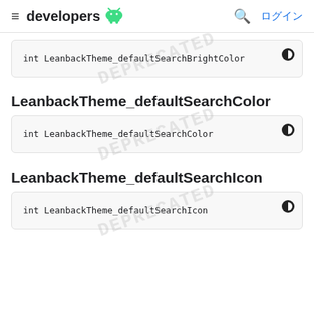≡ developers 🤖  🔍 ログイン
int LeanbackTheme_defaultSearchBrightColor
LeanbackTheme_defaultSearchColor
int LeanbackTheme_defaultSearchColor
LeanbackTheme_defaultSearchIcon
int LeanbackTheme_defaultSearchIcon